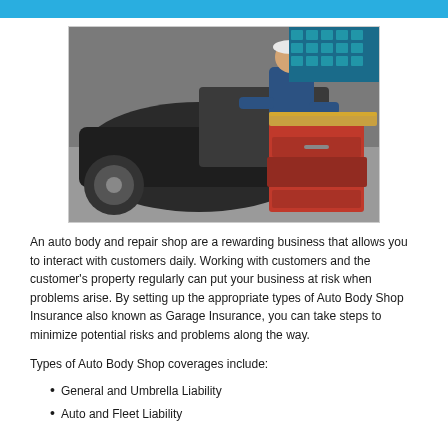[Figure (photo): Mechanic in blue uniform working on a car in an auto body shop, with a red tool chest in the foreground]
An auto body and repair shop are a rewarding business that allows you to interact with customers daily. Working with customers and the customer's property regularly can put your business at risk when problems arise. By setting up the appropriate types of Auto Body Shop Insurance also known as Garage Insurance, you can take steps to minimize potential risks and problems along the way.
Types of Auto Body Shop coverages include:
General and Umbrella Liability
Auto and Fleet Liability